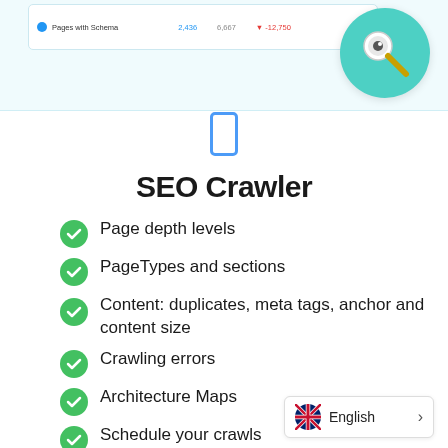[Figure (screenshot): SEO tool dashboard screenshot showing Pages with Schema row with values 2,436 and 6,867 and -12,750 in red, with a teal magnifier icon overlay]
[Figure (illustration): Phone/mobile icon outline in blue]
SEO Crawler
Page depth levels
PageTypes and sections
Content: duplicates, meta tags, anchor and content size
Crawling errors
Architecture Maps
Schedule your crawls
English